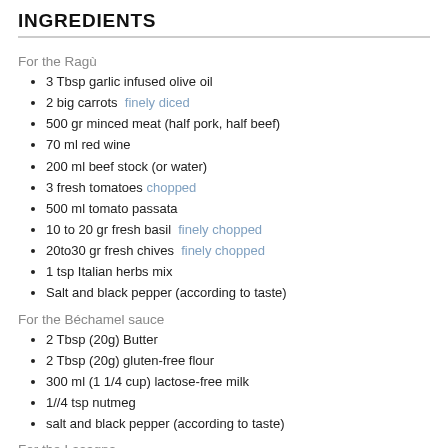INGREDIENTS
For the Ragù
3 Tbsp garlic infused olive oil
2 big carrots  finely diced
500 gr minced meat (half pork, half beef)
70 ml red wine
200 ml beef stock (or water)
3 fresh tomatoes chopped
500 ml tomato passata
10 to 20 gr fresh basil  finely chopped
20to30 gr fresh chives  finely chopped
1 tsp Italian herbs mix
Salt and black pepper (according to taste)
For the Béchamel sauce
2 Tbsp (20g) Butter
2 Tbsp (20g) gluten-free flour
300 ml (1 1/4 cup) lactose-free milk
1//4 tsp nutmeg
salt and black pepper (according to taste)
For the Lasagna
250 gr gluten-free lasagna sheets